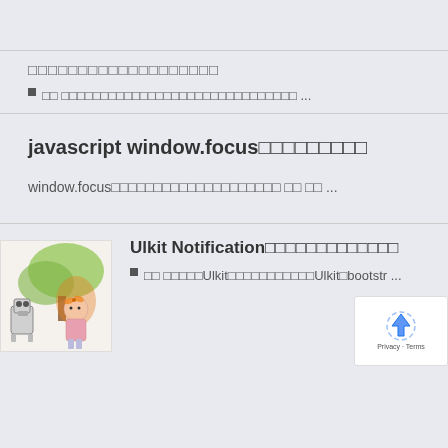（Japanese text title）
■（Japanese text） ...
javascript window.focus（Japanese characters）
window.focus（Japanese text） に に ...
Ulkit Notification（Japanese characters）
■に （Japanese）Ulkit（Japanese）Ulkit bootstr ...